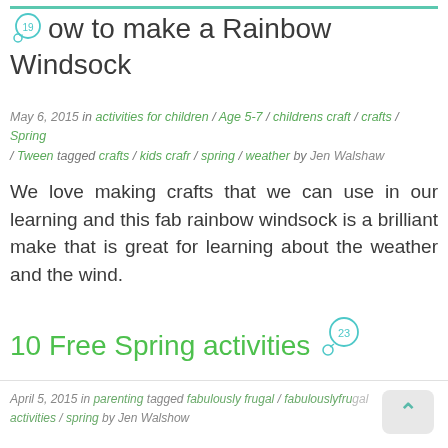How to make a Rainbow Windsock
May 6, 2015  in activities for children / Age 5-7 / childrens craft / crafts / Spring / Tween  tagged crafts / kids crafr / spring / weather by Jen Walshaw
We love making crafts that we can use in our learning and this fab rainbow windsock is a brilliant make that is great for learning about the weather and the wind.
10 Free Spring activities
April 5, 2015  in parenting  tagged fabulously frugal / fabulouslyfrugal activities / spring by Jen Walshaw